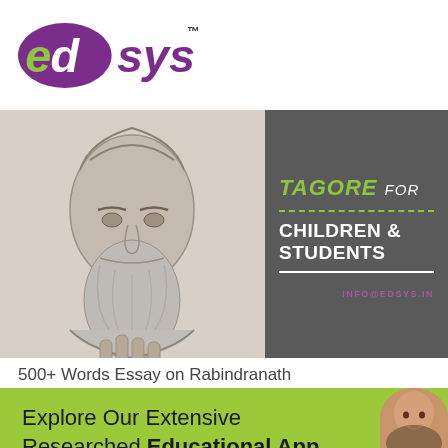[Figure (logo): edsys logo with green stylized letters 'ed' and purple 'sys', TM mark]
[Figure (photo): Banner image: left side shows a pencil sketch portrait of Rabindranath Tagore (elderly bearded man); right side is dark gray with green italic 'TAGORE' text, white 'FOR' text, dashed green line, white bold 'CHILDREN & STUDENTS', solid white line, and purple 'INFO@EDSYS.IN' email text]
500+ Words Essay on Rabindranath
Explore Our Extensive Researched Educational App Directory
This website uses cookies to ensure you get the best experience on our website.
Accept Cookies   Decline